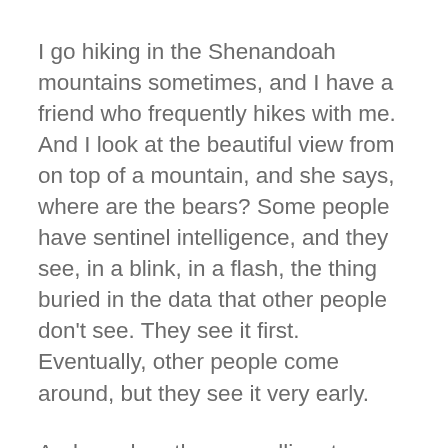I go hiking in the Shenandoah mountains sometimes, and I have a friend who frequently hikes with me. And I look at the beautiful view from on top of a mountain, and she says, where are the bears? Some people have sentinel intelligence, and they see, in a blink, in a flash, the thing buried in the data that other people don't see. They see it first. Eventually, other people come around, but they see it very early.
And so when they go yelling, to a decision maker, there's a problem, the decision maker says, yeah? Who else believes you? What other experts in the field agree with you? And those Cassandras repeatedly say, well, I gave